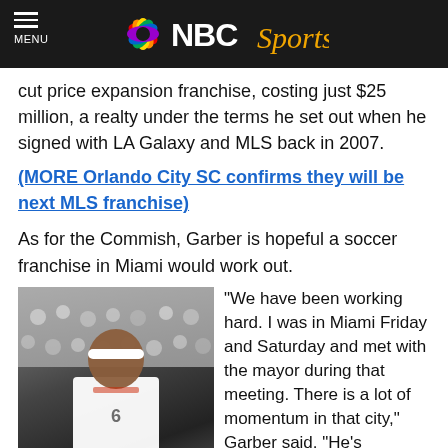MENU | NBC Sports
cut price expansion franchise, costing just $25 million, a realty under the terms he set out when he signed with LA Galaxy and MLS back in 2007.
(MORE Orlando City SC confirms they will be next MLS franchise)
As for the Commish, Garber is hopeful a soccer franchise in Miami would work out.
[Figure (photo): Basketball player wearing white jersey and headband, with crowd in background]
“We have been working hard. I was in Miami Friday and Saturday and met with the mayor during that meeting. There is a lot of momentum in that city,” Garber said. “He’s [Beckham] been out meeting